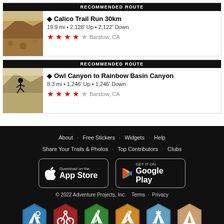[Figure (screenshot): Recommended route card: Calico Trail Run 30km, 19.9 mi, 2128 Up, 2122 Down, 4 stars, Barstow CA]
[Figure (screenshot): Recommended route card: Owl Canyon to Rainbow Basin Canyon, 8.3 mi, 1246 Up, 1246 Down, 4 stars, Barstow CA]
About · Free Stickers · Widgets · Help
Share Your Trails & Photos · Top Contributors · Clubs
Download on the App Store  GET IT ON Google Play
© 2022 Adventure Projects, Inc.  Terms · Privacy